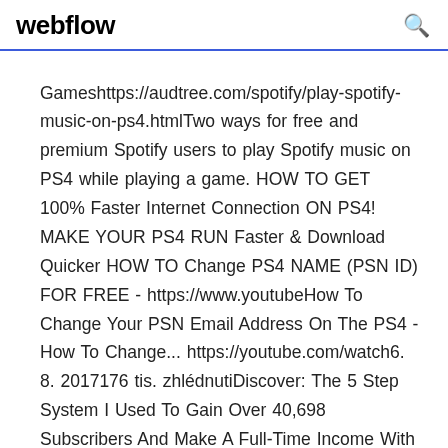webflow
Gameshttps://audtree.com/spotify/play-spotify-music-on-ps4.htmlTwo ways for free and premium Spotify users to play Spotify music on PS4 while playing a game. HOW TO GET 100% Faster Internet Connection ON PS4! MAKE YOUR PS4 RUN Faster & Download Quicker HOW TO Change PS4 NAME (PSN ID) FOR FREE - https://www.youtubeHow To Change Your PSN Email Address On The PS4 - How To Change... https://youtube.com/watch6. 8. 2017176 tis. zhlédnutiDiscover: The 5 Step System I Used To Gain Over 40,698 Subscribers And Make A Full-Time Income With My YouTube Channel: http://bit.l...FreeCourseYT In this viNEW Glitch HOW TO GET FREE PS PLUS FOR LIFE!!! Working